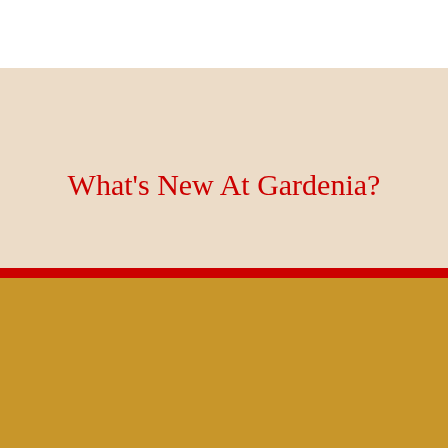What's New At Gardenia?
SITEMAP
Products
Bread Treats
Gardenia Story
Delicia
Wellness